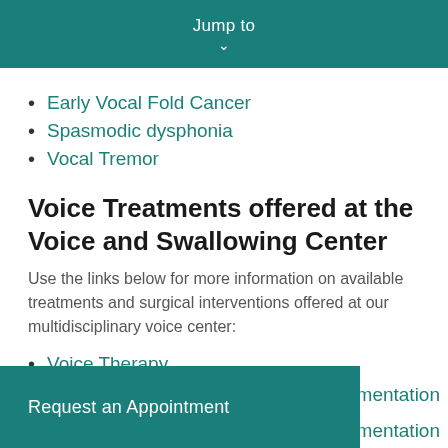Jump to
Early Vocal Fold Cancer
Spasmodic dysphonia
Vocal Tremor
Voice Treatments offered at the Voice and Swallowing Center
Use the links below for more information on available treatments and surgical interventions offered at our multidisciplinary voice center:
Voice Therapy
n Augmentation
gmentation
Request an Appointment